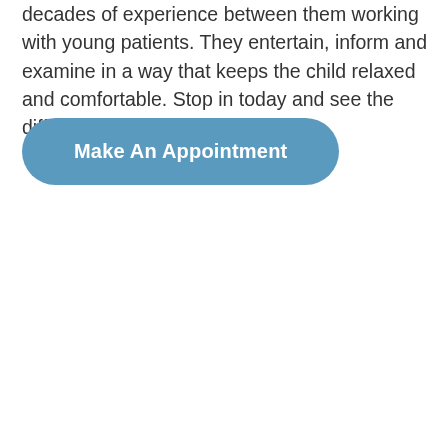decades of experience between them working with young patients. They entertain, inform and examine in a way that keeps the child relaxed and comfortable. Stop in today and see the difference!
Make An Appointment